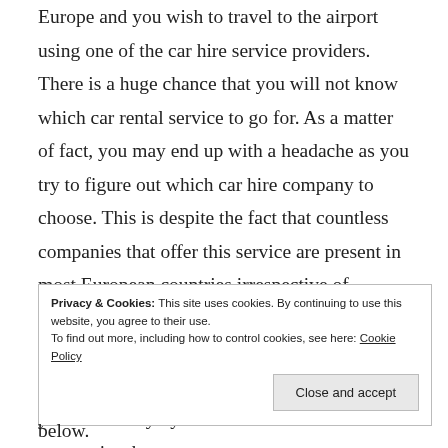Europe and you wish to travel to the airport using one of the car hire service providers. There is a huge chance that you will not know which car rental service to go for. As a matter of fact, you may end up with a headache as you try to figure out which car hire company to choose. This is despite the fact that countless companies that offer this service are present in most European countries irrespective of whether it is east or western Europe. But, this does not mean that all of them are able to deliver the right results. This is the reason why you have to try by all means to search for companies that
Privacy & Cookies: This site uses cookies. By continuing to use this website, you agree to their use.
To find out more, including how to control cookies, see here: Cookie Policy
below.